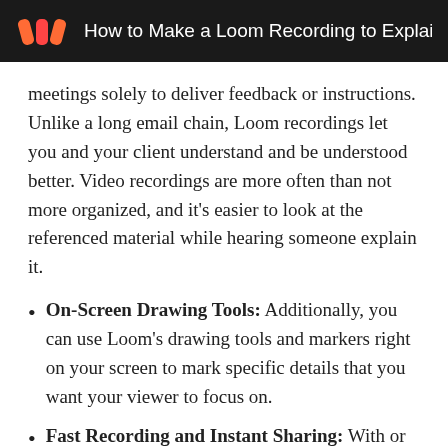How to Make a Loom Recording to Explain Just A
meetings solely to deliver feedback or instructions. Unlike a long email chain, Loom recordings let you and your client understand and be understood better. Video recordings are more often than not more organized, and it's easier to look at the referenced material while hearing someone explain it.
On-Screen Drawing Tools: Additionally, you can use Loom's drawing tools and markers right on your screen to mark specific details that you want your viewer to focus on.
Fast Recording and Instant Sharing: With or without your camera, you may effortlessly